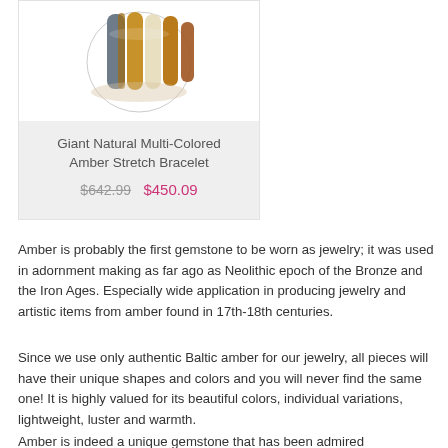[Figure (photo): Product card showing a Giant Natural Multi-Colored Amber Stretch Bracelet on a light gray background with white image area at top.]
Giant Natural Multi-Colored Amber Stretch Bracelet
$642.99  $450.09
Amber is probably the first gemstone to be worn as jewelry; it was used in adornment making as far ago as Neolithic epoch of the Bronze and the Iron Ages. Especially wide application in producing jewelry and artistic items from amber found in 17th-18th centuries.
Since we use only authentic Baltic amber for our jewelry, all pieces will have their unique shapes and colors and you will never find the same one! It is highly valued for its beautiful colors, individual variations, lightweight, luster and warmth.
Amber is indeed a unique gemstone that has been admired